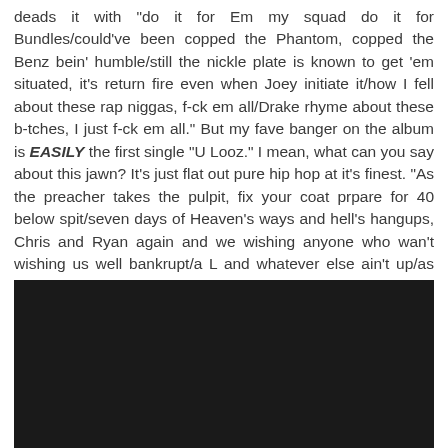deads it with "do it for Em my squad do it for Bundles/could've been copped the Phantom, copped the Benz bein' humble/still the nickle plate is known to get 'em situated, it's return fire even when Joey initiate it/how I fell about these rap niggas, f-ck em all/Drake rhyme about these b-tches, I just f-ck em all." But my fave banger on the album is EASILY the first single "U Looz." I mean, what can you say about this jawn? It's just flat out pure hip hop at it's finest. "As the preacher takes the pulpit, fix your coat prpare for 40 below spit/seven days of Heaven's ways and hell's hangups, Chris and Ryan again and we wishing anyone who wan't wishing us well bankrupt/a L and whatever else ain't up/as far as me I'm still caught up in all of that gun sh-t, still calling my bullets expendables cause it's hard to believe I can fit all of them boys in one clip."
[Figure (photo): Dark/black rectangular image area at the bottom of the page]